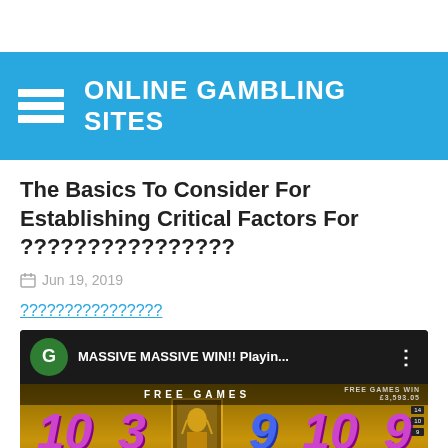ONLINE GAMBLING SITES
The Basics To Consider For Establishing Critical Factors For ????????????????
Jun 19, 2019
????????????????
[Figure (screenshot): YouTube video thumbnail showing a slot machine game with 'MASSIVE MASSIVE WIN!! Playin...' title, green G circle avatar, and slot reels showing numbers 10, 3, 9, 10, 9 with FREE GAMES banner]